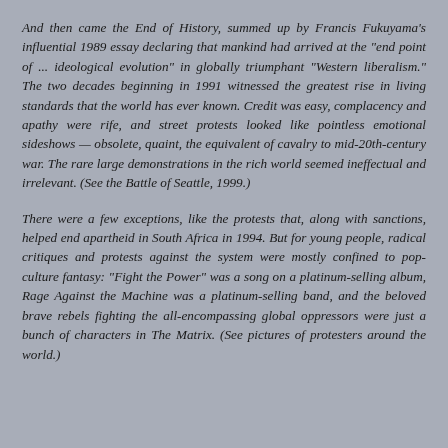And then came the End of History, summed up by Francis Fukuyama's influential 1989 essay declaring that mankind had arrived at the "end point of ... ideological evolution" in globally triumphant "Western liberalism." The two decades beginning in 1991 witnessed the greatest rise in living standards that the world has ever known. Credit was easy, complacency and apathy were rife, and street protests looked like pointless emotional sideshows — obsolete, quaint, the equivalent of cavalry to mid-20th-century war. The rare large demonstrations in the rich world seemed ineffectual and irrelevant. (See the Battle of Seattle, 1999.)
There were a few exceptions, like the protests that, along with sanctions, helped end apartheid in South Africa in 1994. But for young people, radical critiques and protests against the system were mostly confined to pop-culture fantasy: "Fight the Power" was a song on a platinum-selling album, Rage Against the Machine was a platinum-selling band, and the beloved brave rebels fighting the all-encompassing global oppressors were just a bunch of characters in The Matrix. (See pictures of protesters around the world.)